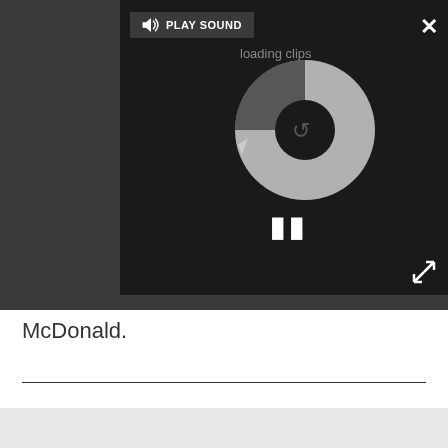[Figure (screenshot): Video player interface on dark background with PLAY SOUND button at top, a circular loading/buffering spinner in center, and pause (II) button at bottom left. Close (X) button at top right, expand arrows at bottom right.]
McDonald.
[Figure (screenshot): Bottom section showing MORE ABOUT... and LATEST tab headers in dark grey, with two thumbnail images below showing people/faces.]